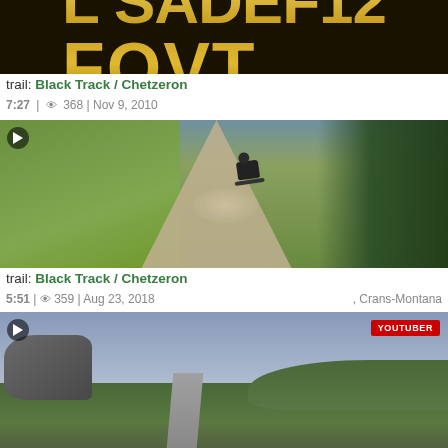[Figure (photo): Mountain bike video thumbnail with gold metallic letters on dark background, partially cropped]
trail: Black Track / Chetzeron
7:27 | 👁 368 | Nov 9, 2010
[Figure (photo): Mountain bike rider on dusty dirt trail with green hills and trees, Crans-Montana]
trail: Black Track / Chetzeron
5:51 | 👁 359 | Aug 23, 2018 , Crans-Montana
[Figure (photo): Mountain bike trail on rocky hillside with cloudy sky, YOUTUBER badge in top right]